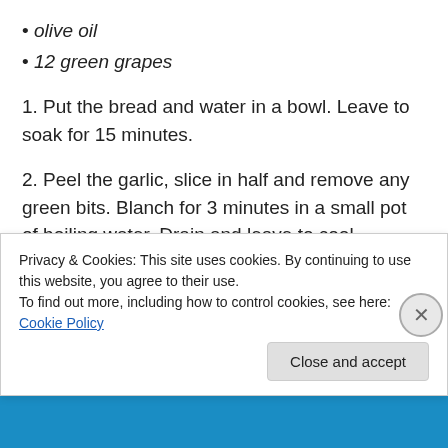• olive oil
• 12 green grapes
1. Put the bread and water in a bowl. Leave to soak for 15 minutes.
2. Peel the garlic, slice in half and remove any green bits. Blanch for 3 minutes in a small pot of boiling water. Drain and leave to cool.
3. Skin the almonds – bring another pan of water to the boil, add the almonds and simmer for two minutes. Drain
Privacy & Cookies: This site uses cookies. By continuing to use this website, you agree to their use.
To find out more, including how to control cookies, see here: Cookie Policy
Close and accept